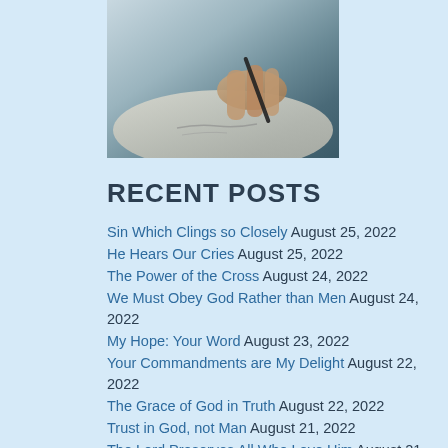[Figure (photo): A person writing or signing something, shown from above, close-up of hands holding a pen on paper.]
RECENT POSTS
Sin Which Clings so Closely August 25, 2022
He Hears Our Cries August 25, 2022
The Power of the Cross August 24, 2022
We Must Obey God Rather than Men August 24, 2022
My Hope: Your Word August 23, 2022
Your Commandments are My Delight August 22, 2022
The Grace of God in Truth August 22, 2022
Trust in God, not Man August 21, 2022
The Lord Preserves All Who Love Him August 21, 2022
Bring No More Vain Offerings August 20, 2022